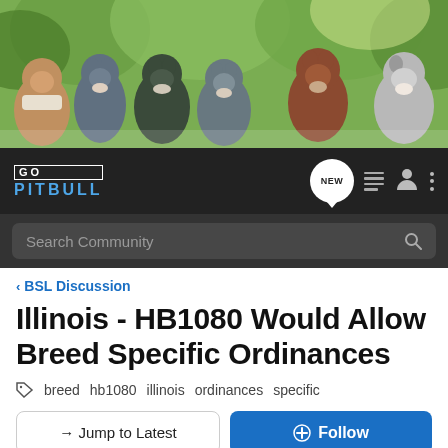[Figure (photo): Hero banner photo showing six pitbull dogs sitting in a row in front of green foliage background]
GO PITBULL — Navigation bar with logo, NEW button, list icon, user icon, and menu icon
Search Community
< BSL Discussion
Illinois - HB1080 Would Allow Breed Specific Ordinances
breed  hb1080  illinois  ordinances  specific
→ Jump to Latest
+ Follow
1 - 3 of 3 Posts